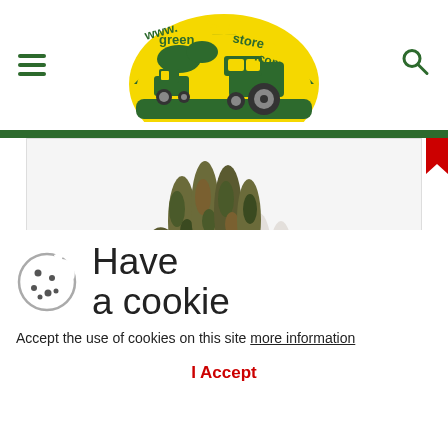www.greenPARTstore.com — navigation header with hamburger menu and search icon
[Figure (photo): Product photo of John Deere Mens Camo Light-Duty Cotton Grip Glove - LP42364, showing camouflage patterned glove with white inner glove]
Have
a cookie
Accept the use of cookies on this site more information
I Accept
John Deere Mens Camo Light-Duty Cotton Grip Glove - LP42364